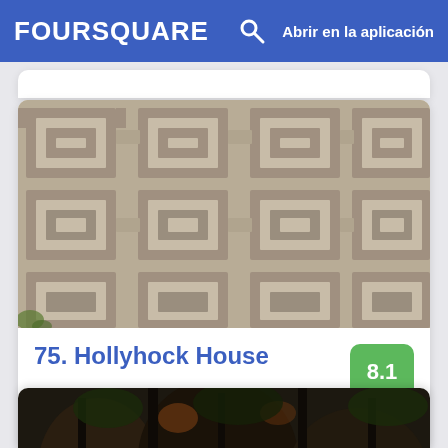FOURSQUARE  🔍  Abrir en la aplicación
[Figure (photo): Close-up photo of decorative concrete Mayan-inspired block pattern (textile blocks), characteristic of Frank Lloyd Wright architecture at Hollyhock House.]
75. Hollyhock House
8.1
4800 Hollywood Blvd (btw Normandie & Vermont), Los Ángeles, CA
Museo · Little Armenia · 17 tips y reseñas
[Figure (photo): Partial view of another location card below with a dark forest/tree photo.]